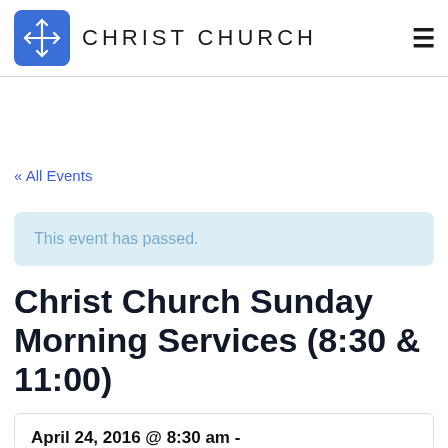CHRIST CHURCH
« All Events
This event has passed.
Christ Church Sunday Morning Services (8:30 & 11:00)
April 24, 2016 @ 8:30 am -